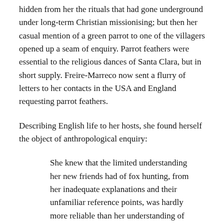hidden from her the rituals that had gone underground under long-term Christian missionising; but then her casual mention of a green parrot to one of the villagers opened up a seam of enquiry. Parrot feathers were essential to the religious dances of Santa Clara, but in short supply. Freire-Marreco now sent a flurry of letters to her contacts in the USA and England requesting parrot feathers.
Describing English life to her hosts, she found herself the object of anthropological enquiry:
She knew that the limited understanding her new friends had of fox hunting, from her inadequate explanations and their unfamiliar reference points, was hardly more reliable than her understanding of their complex cultural traditions.